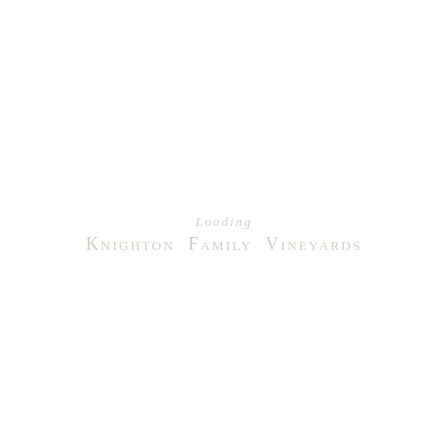Loading
Knighton Family Vineyards